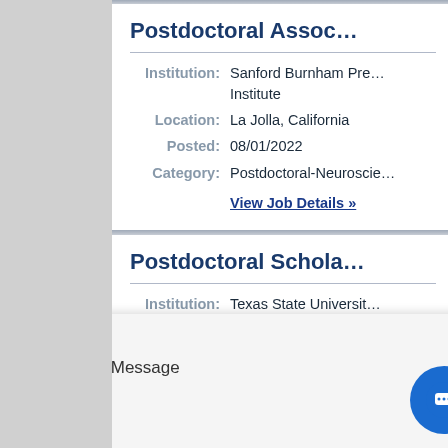Postdoctoral Associate
Institution: Sanford Burnham Prebys Medical Discovery Institute
Location: La Jolla, California
Posted: 08/01/2022
Category: Postdoctoral-Neuroscience
View Job Details »
Postdoctoral Scholar
Institution: Texas State University
Location: Round Rock, Texas
Posted: 08/01/2022
Category: Postdoctoral-Engineering
Leave Us a Message